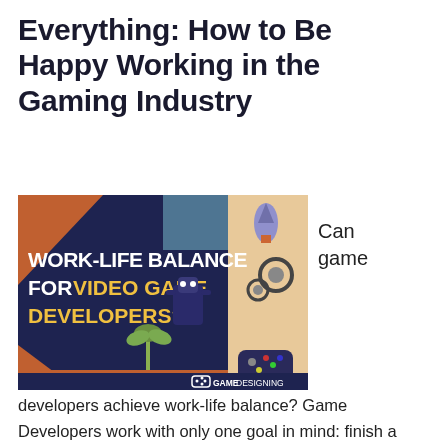Everything: How to Be Happy Working in the Gaming Industry
[Figure (infographic): Infographic banner with dark navy background and orange accent showing text 'WORK-LIFE BALANCE FOR VIDEO GAME DEVELOPERS?' in bold white and yellow lettering, with illustrated characters and gaming icons. Bottom right shows 'GAMEDESIGNING' logo.]
Can game
developers achieve work-life balance? Game Developers work with only one goal in mind: finish a video game project. Achieving work-life balance is unheard of in a career in which crunch time is part of the job description. And though they're not exactly shy in calling for office reform, most have